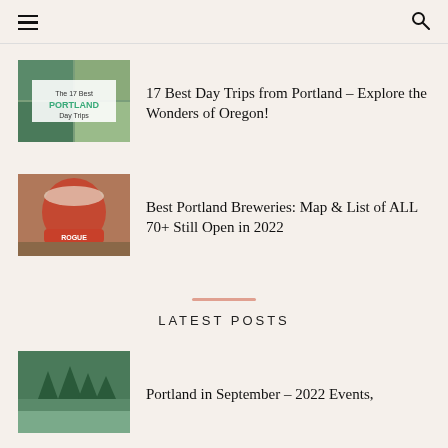Navigation header with hamburger menu and search icon
[Figure (photo): Collage of Oregon scenery with text overlay 'The 17 Best PORTLAND Day Trips']
17 Best Day Trips from Portland – Explore the Wonders of Oregon!
[Figure (photo): Close-up photo of a red beer cup/glass at a Portland brewery]
Best Portland Breweries: Map & List of ALL 70+ Still Open in 2022
LATEST POSTS
[Figure (photo): Forest/trees landscape photo for Portland in September article]
Portland in September – 2022 Events,